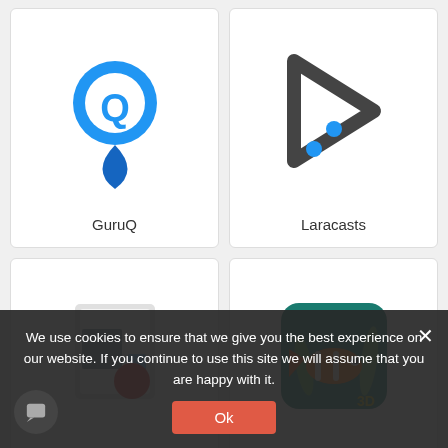[Figure (screenshot): App listing page showing four app cards in a 2x2 grid: GuruQ (blue location pin with Q), Laracasts (dark arrow/cursor icon), Steps Recorder (document with red record button), Sim Aquarium (clownfish aquarium). A cookie consent overlay is shown at the bottom.]
GuruQ
Laracasts
Steps Recorder
Sim Aquarium
We use cookies to ensure that we give you the best experience on our website. If you continue to use this site we will assume that you are happy with it.
Ok